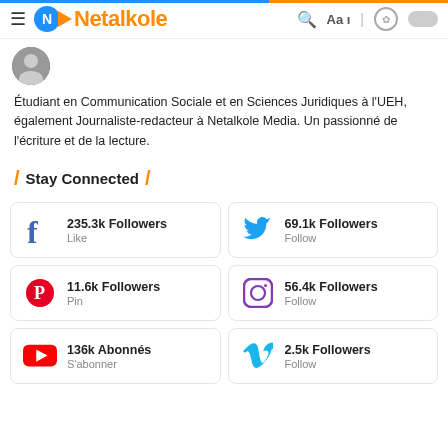Netalkole
[Figure (photo): Small circular avatar photo of a person]
Étudiant en Communication Sociale et en Sciences Juridiques à l'UEH, également Journaliste-redacteur à Netalkole Media. Un passionné de l'écriture et de la lecture.
Stay Connected
235.3k Followers
Like
69.1k Followers
Follow
11.6k Followers
Pin
56.4k Followers
Follow
136k Abonnés
S'abonner
2.5k Followers
Follow